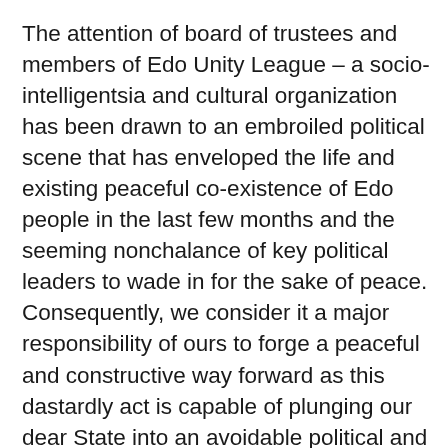The attention of board of trustees and members of Edo Unity League – a socio-intelligentsia and cultural organization has been drawn to an embroiled political scene that has enveloped the life and existing peaceful co-existence of Edo people in the last few months and the seeming nonchalance of key political leaders to wade in for the sake of peace. Consequently, we consider it a major responsibility of ours to forge a peaceful and constructive way forward as this dastardly act is capable of plunging our dear State into an avoidable political and economic imbroglio. The peaceful disposition that Edo people is renowned for cannot be compromised for any political, social or economic reason(s), we owe it a duty to conscientiously sensitize the good people of Edo State on the need to remain resolute in the pursuit